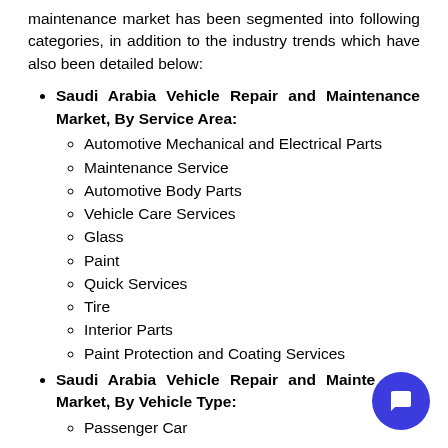maintenance market has been segmented into following categories, in addition to the industry trends which have also been detailed below:
Saudi Arabia Vehicle Repair and Maintenance Market, By Service Area:
Automotive Mechanical and Electrical Parts
Maintenance Service
Automotive Body Parts
Vehicle Care Services
Glass
Paint
Quick Services
Tire
Interior Parts
Paint Protection and Coating Services
Saudi Arabia Vehicle Repair and Maintenance Market, By Vehicle Type:
Passenger Car